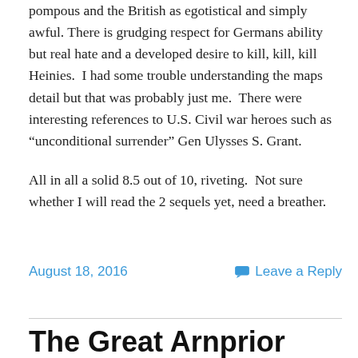pompous and the British as egotistical and simply awful. There is grudging respect for Germans ability but real hate and a developed desire to kill, kill, kill Heinies. I had some trouble understanding the maps detail but that was probably just me. There were interesting references to U.S. Civil war heroes such as “unconditional surrender” Gen Ulysses S. Grant.

All in all a solid 8.5 out of 10, riveting. Not sure whether I will read the 2 sequels yet, need a breather.
August 18, 2016
Leave a Reply
The Great Arnprior Water Riot